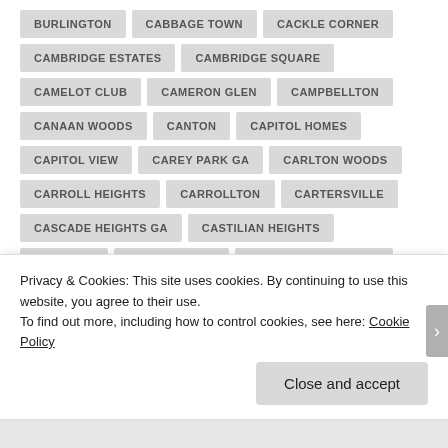BURLINGTON
CABBAGE TOWN
CACKLE CORNER
CAMBRIDGE ESTATES
CAMBRIDGE SQUARE
CAMELOT CLUB
CAMERON GLEN
CAMPBELLTON
CANAAN WOODS
CANTON
CAPITOL HOMES
CAPITOL VIEW
CAREY PARK GA
CARLTON WOODS
CARROLL HEIGHTS
CARROLLTON
CARTERSVILLE
CASCADE HEIGHTS GA
CASTILIAN HEIGHTS
CAT FOOD
CEDAR GROVE
CEDAR GROVE ACRES
Privacy & Cookies: This site uses cookies. By continuing to use this website, you agree to their use.
To find out more, including how to control cookies, see here: Cookie Policy